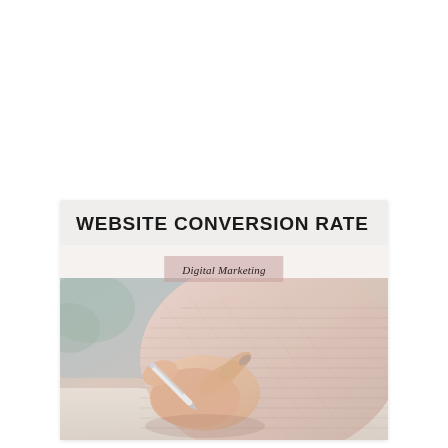[Figure (illustration): Card/banner style graphic with white/light gray top band containing the title 'WEBSITE CONVERSION RATE', a pink-toned badge overlay reading 'Digital Marketing' in italic, and a photograph below showing a close-up of a woman's hands in a pink knit sweater writing with a pen on paper.]